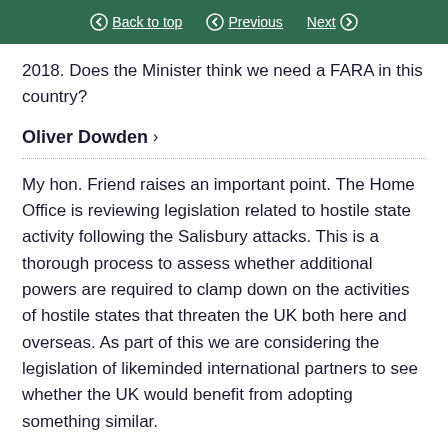Back to top   Previous   Next
2018. Does the Minister think we need a FARA in this country?
Oliver Dowden
My hon. Friend raises an important point. The Home Office is reviewing legislation related to hostile state activity following the Salisbury attacks. This is a thorough process to assess whether additional powers are required to clamp down on the activities of hostile states that threaten the UK both here and overseas. As part of this we are considering the legislation of likeminded international partners to see whether the UK would benefit from adopting something similar.